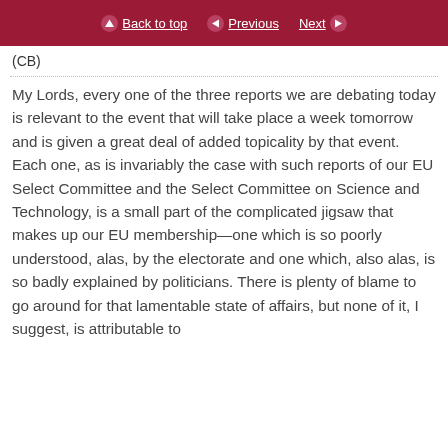Back to top  Previous  Next
(CB)
My Lords, every one of the three reports we are debating today is relevant to the event that will take place a week tomorrow and is given a great deal of added topicality by that event. Each one, as is invariably the case with such reports of our EU Select Committee and the Select Committee on Science and Technology, is a small part of the complicated jigsaw that makes up our EU membership—one which is so poorly understood, alas, by the electorate and one which, also alas, is so badly explained by politicians. There is plenty of blame to go around for that lamentable state of affairs, but none of it, I suggest, is attributable to